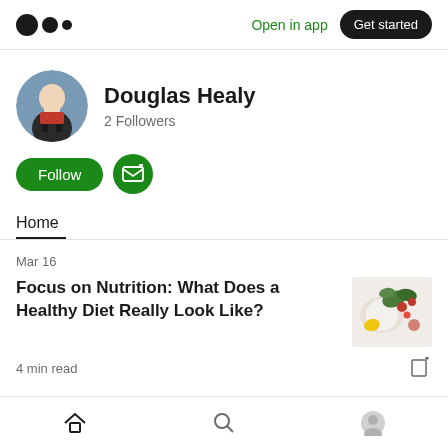Open in app | Get started
Douglas Healy
2 Followers
Follow
Home
Mar 16
Focus on Nutrition: What Does a Healthy Diet Really Look Like?
4 min read
Home | Search | Profile